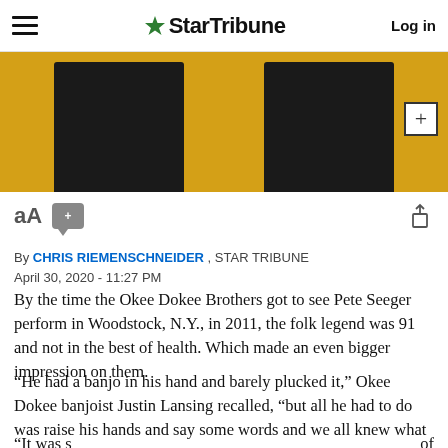StarTribune  Log in
[Figure (photo): Two people standing against a yellow/orange background, showing lower bodies in dark jeans]
By CHRIS RIEMENSCHNEIDER , STAR TRIBUNE
April 30, 2020 - 11:27 PM
By the time the Okee Dokee Brothers got to see Pete Seeger perform in Woodstock, N.Y., in 2011, the folk legend was 91 and not in the best of health. Which made an even bigger impression on them.
“He had a banjo in his hand and barely plucked it,” Okee Dokee banjoist Justin Lansing recalled, “but all he had to do was raise his hands and say some words and we all knew what to sing.
“It was s… of